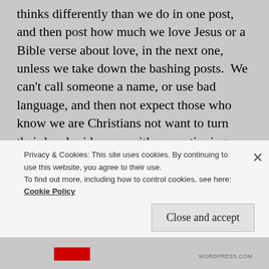thinks differently than we do in one post, and then post how much we love Jesus or a Bible verse about love, in the next one, unless we take down the bashing posts.  We can't call someone a name, or use bad language, and then not expect those who know we are Christians not want to turn their heads sideways with a questioning glance, and be thinking... what?!?!???.  God expects us to be different.  As we ask God to renew our minds, we are asking Him for the Holy Spirit to work in us. He will, and He will do that by bringing us up short when we
Privacy & Cookies: This site uses cookies. By continuing to use this website, you agree to their use.
To find out more, including how to control cookies, see here: Cookie Policy
Close and accept